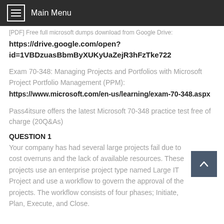Main Menu
[PDF] Free full Microsoft dumps download from Google Drive: https://drive.google.com/open?id=1VBDzuasBbmByXUKyUaZejR3hFzTke722
Exam 70-348: Managing Projects and Portfolios with Microsoft Project Portfolio Management (PPM): https://www.microsoft.com/en-us/learning/exam-70-348.aspx
Pass4itsure offers the latest Microsoft 70-348 practice test free of charge (20Q&As)
QUESTION 1
Your company has had several large projects fail due to cost overruns and the lack of available resources. These projects use an enterprise project type named Large IT Project and use a workflow to govern the approval of the projects. The workflow consists of four phases; Initiate, Plan, Execute, and Close.